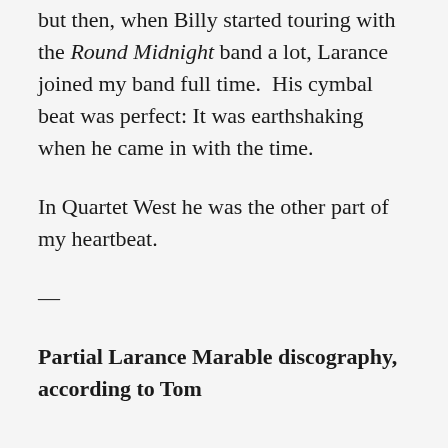but then, when Billy started touring with the Round Midnight band a lot, Larance joined my band full time.  His cymbal beat was perfect: It was earthshaking when he came in with the time.
In Quartet West he was the other part of my heartbeat.
—
Partial Larance Marable discography, according to Tom